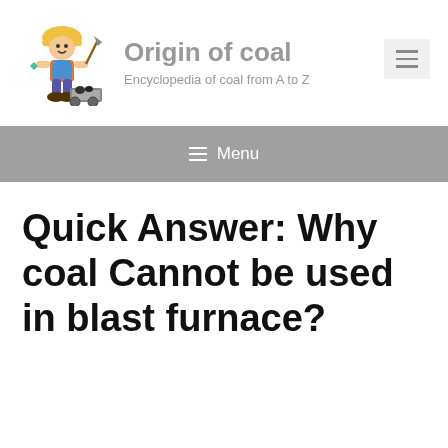[Figure (illustration): Cartoon miner character with yellow hard hat, pickaxe, and coal cart, used as site logo for 'Origin of coal' encyclopedia website]
Origin of coal
Encyclopedia of coal from A to Z
≡ Menu
Quick Answer: Why coal Cannot be used in blast furnace?